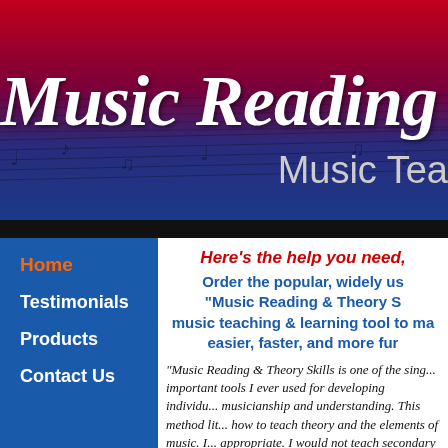[Figure (illustration): Music Reading & Theory website banner with red-to-blue gradient background showing sheet music notes, large italic white title 'Music Reading &' and subtitle 'Music Tea...']
Music Reading &
Music Tea
Here's the help you need,
Order the popular, widely us... "Music Reading & Theory S... music teaching & learning tool to ma... easier, faster, and more fur...
Home
Testimonials
Products
Contact Us
"Music Reading & Theory Skills is one of the sing... important tools I ever used for developing individ... musicianship and understanding. This method lit... how to teach theory and the elements of music. I... appropriate. I would not teach secondary school ... this method."
Dr. J. Steven Moore